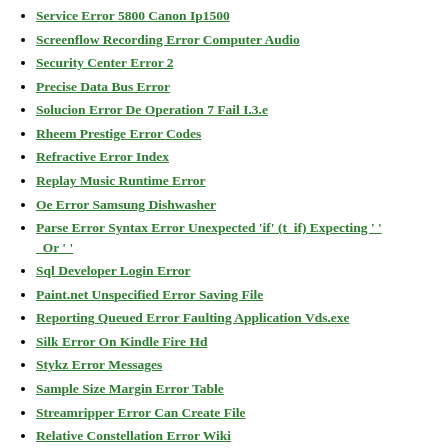Service Error 5800 Canon Ip1500
Screenflow Recording Error Computer Audio
Security Center Error 2
Precise Data Bus Error
Solucion Error De Operation 7 Fail I.3.e
Rheem Prestige Error Codes
Refractive Error Index
Replay Music Runtime Error
Oe Error Samsung Dishwasher
Parse Error Syntax Error Unexpected 'if' (t_if) Expecting '' Or ''
Sql Developer Login Error
Paint.net Unspecified Error Saving File
Reporting Queued Error Faulting Application Vds.exe
Silk Error On Kindle Fire Hd
Stykz Error Messages
Sample Size Margin Error Table
Streamripper Error Can Create File
Relative Constellation Error Wiki